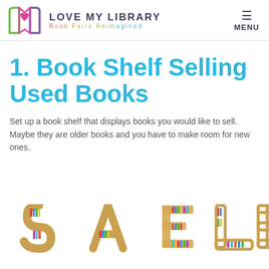LOVE MY LIBRARY — Book Fairs Reimagined
1. Book Shelf Selling Used Books
Set up a book shelf that displays books you would like to sell. Maybe they are older books and you have to make room for new ones.
[Figure (photo): Large decorative letters spelling SALE, each letter shaped like a mini bookshelf filled with colorful books]